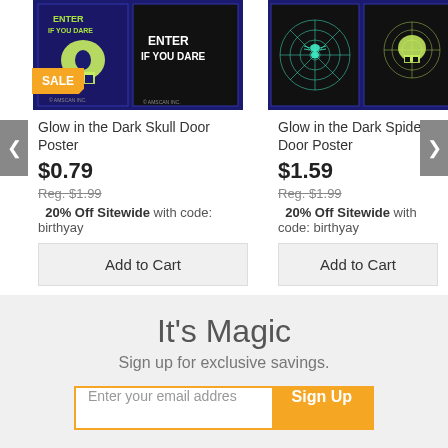[Figure (photo): Glow in the Dark Skull Door Poster product image with SALE badge, showing dark poster with skull and 'Enter If You Dare' text]
Glow in the Dark Skull Door Poster
$0.79
Reg. $1.99
20% Off Sitewide with code: birthyay
Add to Cart
[Figure (photo): Glow in the Dark Spider Door Poster product image showing dark poster with spider web design and 'Enter If You Dare' text]
Glow in the Dark Spider Door Poster
$1.59
Reg. $1.99
20% Off Sitewide with code: birthyay
Add to Cart
It's Magic
Sign up for exclusive savings.
Enter your email addres  Sign Up